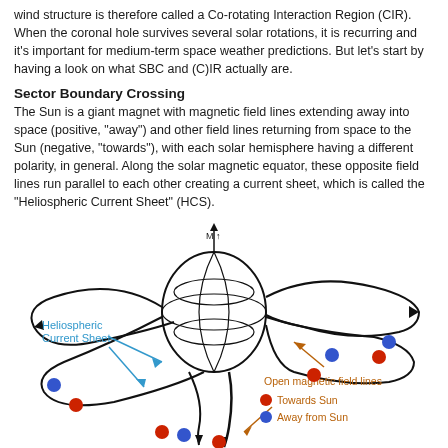wind structure is therefore called a Co-rotating Interaction Region (CIR). When the coronal hole survives several solar rotations, it is recurring and it's important for medium-term space weather predictions. But let's start by having a look on what SBC and (C)IR actually are.
Sector Boundary Crossing
The Sun is a giant magnet with magnetic field lines extending away into space (positive, "away") and other field lines returning from space to the Sun (negative, "towards"), with each solar hemisphere having a different polarity, in general. Along the solar magnetic equator, these opposite field lines run parallel to each other creating a current sheet, which is called the "Heliospheric Current Sheet" (HCS).
[Figure (illustration): Diagram of the Heliospheric Current Sheet around the Sun. Shows a globe (the Sun) with field lines wrapping around it in a wavy sheet pattern extending outward. Blue arrows label 'Heliospheric Current Sheet' pointing to the current sheet region. Orange arrows and text label 'Open magnetic field lines'. Red filled circles labeled 'Towards Sun' and blue filled circles labeled 'Away from Sun' are scattered around the diagram.]